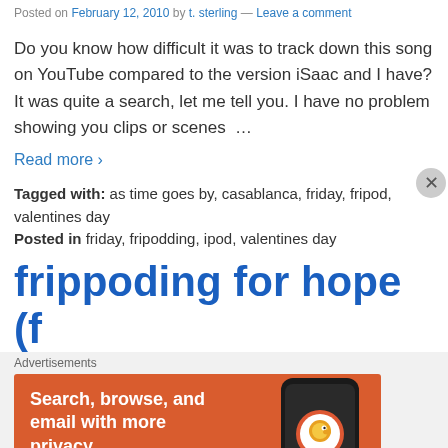Posted on February 12, 2010 by t. sterling — Leave a comment
Do you know how difficult it was to track down this song on YouTube compared to the version iSaac and I have? It was quite a search, let me tell you. I have no problem showing you clips or scenes  …
Read more ›
Tagged with: as time goes by, casablanca, friday, fripod, valentines day
Posted in friday, fripodding, ipod, valentines day
frippoding for hope (for valentines)
Advertisements
[Figure (other): DuckDuckGo advertisement banner: orange background with white text 'Search, browse, and email with more privacy. All in One Free App' and a phone showing the DuckDuckGo app icon.]